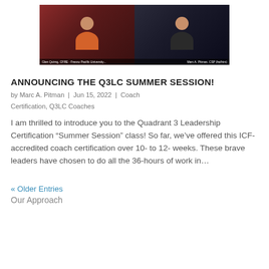[Figure (screenshot): Video call screenshot showing two people (Glen Quirng, CFRE - Fresno Pacific University and Marc A. Pitman, CSP) on a dark background video conference interface]
ANNOUNCING THE Q3LC SUMMER SESSION!
by Marc A. Pitman | Jun 15, 2022 | Coach Certification, Q3LC Coaches
I am thrilled to introduce you to the Quadrant 3 Leadership Certification “Summer Session” class! So far, we’ve offered this ICF-accredited coach certification over 10- to 12- weeks. These brave leaders have chosen to do all the 36-hours of work in…
« Older Entries
Our Approach